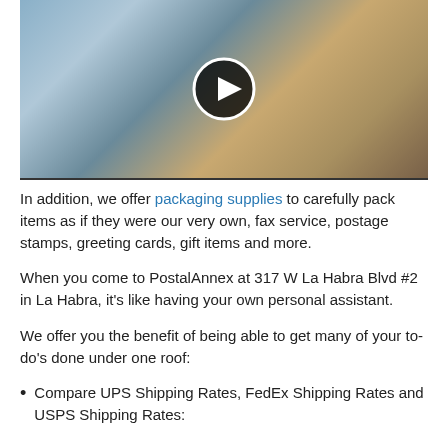[Figure (screenshot): Video thumbnail showing a blurry close-up scene with a play button (white triangle in black circle with white border) centered on the image.]
In addition, we offer packaging supplies to carefully pack items as if they were our very own, fax service, postage stamps, greeting cards, gift items and more.
When you come to PostalAnnex at 317 W La Habra Blvd #2 in La Habra, it's like having your own personal assistant.
We offer you the benefit of being able to get many of your to-do's done under one roof:
Compare UPS Shipping Rates, FedEx Shipping Rates and USPS Shipping Rates: